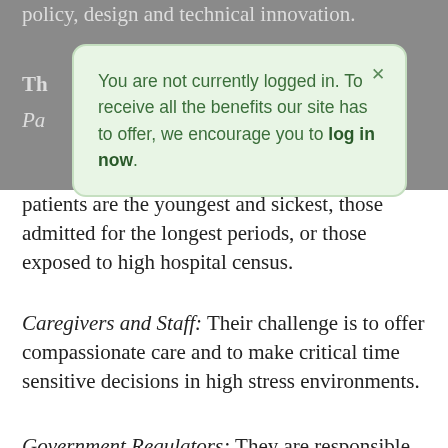policy, design and technical innovation.
[Figure (screenshot): Modal popup with green background reading: You are not currently logged in. To receive all the benefits our site has to offer, we encourage you to log in now. With a close (×) button.]
patients are the youngest and sickest, those admitted for the longest periods, or those exposed to high hospital census.
Caregivers and Staff: Their challenge is to offer compassionate care and to make critical time sensitive decisions in high stress environments.
Government Regulators: They are responsible for structuring the funding of care, especially for older patients. As a wave of baby boomers